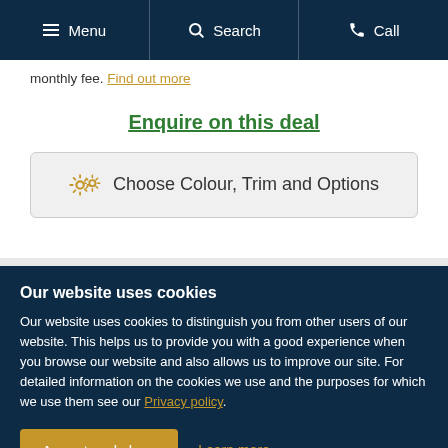Menu | Search | Call
monthly fee. Find out more
Enquire on this deal
Choose Colour, Trim and Options
Our website uses cookies
Our website uses cookies to distinguish you from other users of our website. This helps us to provide you with a good experience when you browse our website and also allows us to improve our site. For detailed information on the cookies we use and the purposes for which we use them see our Privacy policy.
Accept and close | Learn more